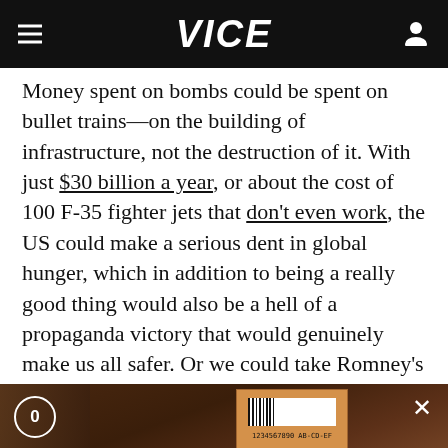VICE
Money spent on bombs could be spent on bullet trains—on the building of infrastructure, not the destruction of it. With just $30 billion a year, or about the cost of 100 F-35 fighter jets that don't even work, the US could make a serious dent in global hunger, which in addition to being a really good thing would also be a hell of a propaganda victory that would genuinely make us all safer. Or we could take Romney's
[Figure (screenshot): Video advertisement overlay showing a package/box with barcode and crate, with PayPal branding text and video controls including a close button and mute button]